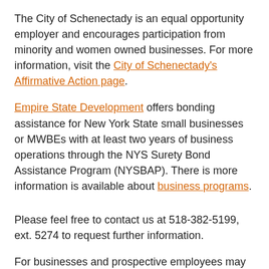The City of Schenectady is an equal opportunity employer and encourages participation from minority and women owned businesses. For more information, visit the City of Schenectady's Affirmative Action page.
Empire State Development offers bonding assistance for New York State small businesses or MWBEs with at least two years of business operations through the NYS Surety Bond Assistance Program (NYSBAP). There is more information is available about business programs.
Please feel free to contact us at 518-382-5199, ext. 5274 to request further information.
For businesses and prospective employees may contact Miriam Cajuste: